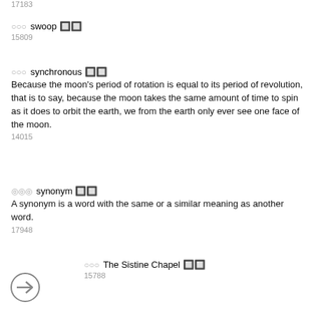17183
○○○ swoop 🔲🔲
15809
○○○ synchronous 🔲🔲
Because the moon's period of rotation is equal to its period of revolution, that is to say, because the moon takes the same amount of time to spin as it does to orbit the earth, we from the earth only ever see one face of the moon.
14015
◎◎◎ synonym 🔲🔲
A synonym is a word with the same or a similar meaning as another word.
17948
○○○ The Sistine Chapel 🔲🔲
15788